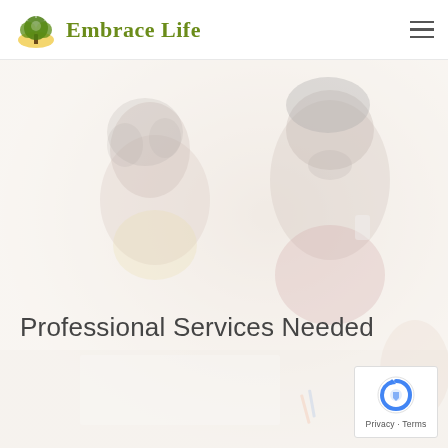Embrace Life
[Figure (photo): Faded background photo of two people sitting at a table in discussion, one wearing a beanie hat and drinking from a cup, the other with curly hair. The image has a strong white overlay giving a washed-out effect.]
Professional Services Needed
[Figure (logo): reCAPTCHA badge with blue arrow-circle icon and 'Privacy - Terms' text below]